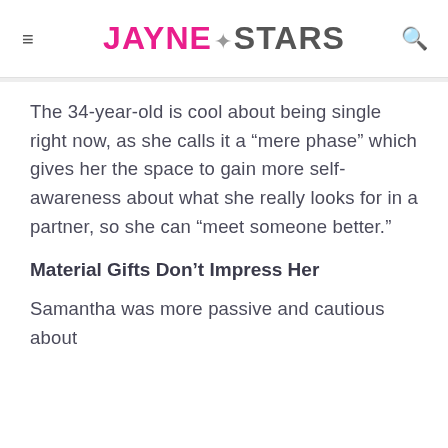JAYNE★STARS
The 34-year-old is cool about being single right now, as she calls it a “mere phase” which gives her the space to gain more self-awareness about what she really looks for in a partner, so she can “meet someone better.”
Material Gifts Don’t Impress Her
Samantha was more passive and cautious about